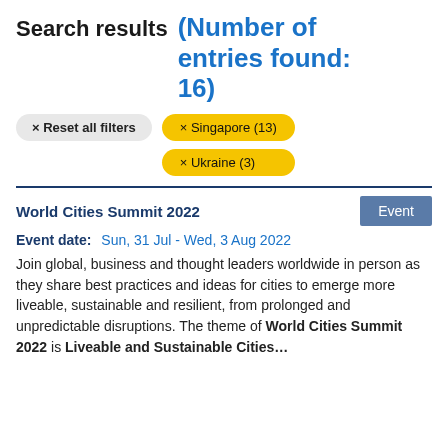Search results (Number of entries found: 16)
× Reset all filters
× Singapore (13)
× Ukraine (3)
World Cities Summit 2022
Event date: Sun, 31 Jul - Wed, 3 Aug 2022
Join global, business and thought leaders worldwide in person as they share best practices and ideas for cities to emerge more liveable, sustainable and resilient, from prolonged and unpredictable disruptions. The theme of World Cities Summit 2022 is Liveable and Sustainable Cities…